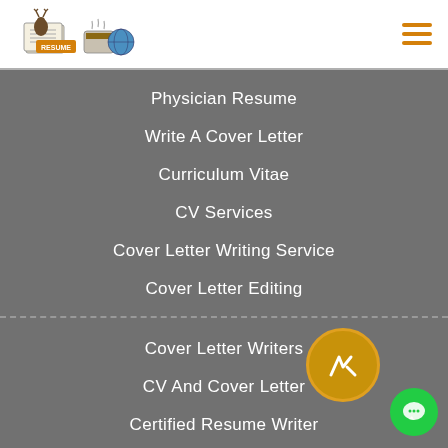[Figure (logo): Resume Deer logo with coffee cup and newspaper illustration]
Physician Resume
Write A Cover Letter
Curriculum Vitae
CV Services
Cover Letter Writing Service
Cover Letter Editing
Cover Letter Writers
CV And Cover Letter
Certified Resume Writer
Cheap Resume Writing